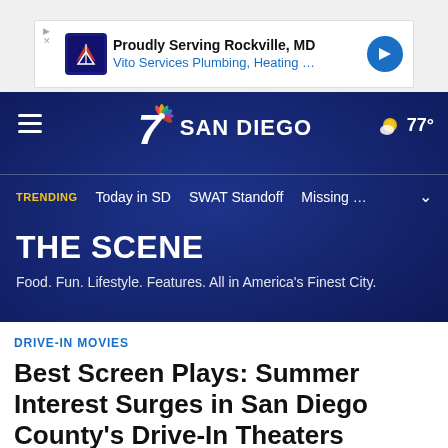[Figure (other): Advertisement banner: Proudly Serving Rockville, MD - Vito Services Plumbing, Heating ...]
[Figure (screenshot): NBC 7 San Diego website header with navigation bar showing trending items: Today in SD, SWAT Standoff, Missing..., weather showing 77 degrees, and The Scene section tagline]
TRENDING   Today in SD   SWAT Standoff   Missing ...
THE SCENE
Food. Fun. Lifestyle. Features. All in America's Finest City.
DRIVE-IN MOVIES
Best Screen Plays: Summer Interest Surges in San Diego County's Drive-In Theaters